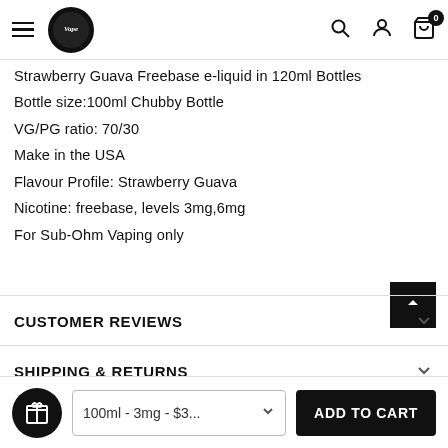Navigation bar with hamburger menu, logo, search, account, and cart (0 items)
Strawberry Guava Freebase e-liquid in 120ml Bottles
Bottle size:100ml Chubby Bottle
VG/PG ratio: 70/30
Make in the USA
Flavour Profile: Strawberry Guava
Nicotine: freebase, levels 3mg,6mg
For Sub-Ohm Vaping only
CUSTOMER REVIEWS
SHIPPING & RETURNS
100ml - 3mg - $3... ADD TO CART